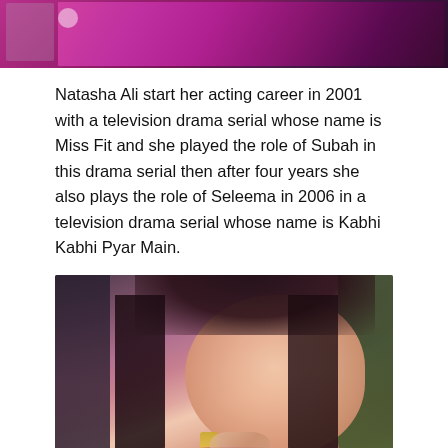[Figure (photo): Partial photo showing bottom portion of a woman in a bright magenta/pink outfit with embroidery details, with a smaller inset image on the left side]
Natasha Ali start her acting career in 2001 with a television drama serial whose name is Miss Fit and she played the role of Subah in this drama serial then after four years she also plays the role of Seleema in 2006 in a television drama serial whose name is Kabhi Kabhi Pyar Main.
[Figure (photo): Portrait photo of a woman with long dark hair, wearing glamorous jewelry including large chandelier earrings, heavy eye makeup, and a pink/magenta outfit. Background shows an indoor setting with plants.]